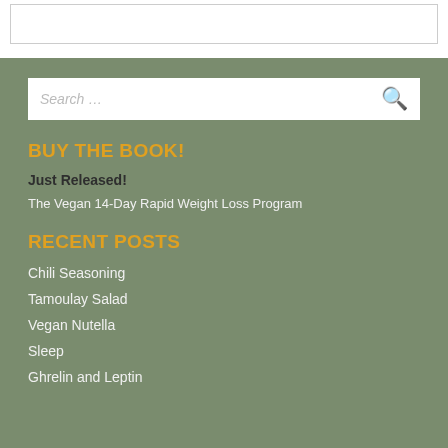[Figure (screenshot): White top bar with a bordered search input box]
[Figure (screenshot): Search bar with placeholder text 'Search ...' and an orange search icon button]
BUY THE BOOK!
Just Released!
The Vegan 14-Day Rapid Weight Loss Program
RECENT POSTS
Chili Seasoning
Tamoulay Salad
Vegan Nutella
Sleep
Ghrelin and Leptin